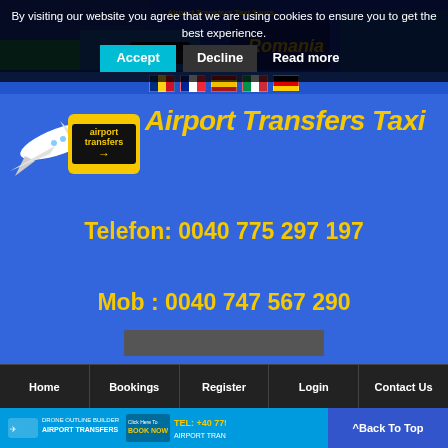[Figure (screenshot): Airport website header with background photo of beach, city and airport scenes]
By visiting our website you agree that we are using cookies to ensure you to get the best experience.
Accept | Decline | Read more
[Figure (logo): Airport Transfers logo with airplane graphic and yellow text 'Airport Transfers Taxi' on blue background]
Telefon: 0040 775 297 197
Mob : 0040 747 567 290
Home
Bookings
Register
Login
Contact Us
[Figure (screenshot): Bottom banner with airport transfers booking info and TEL: +40 775]
^Back To Top